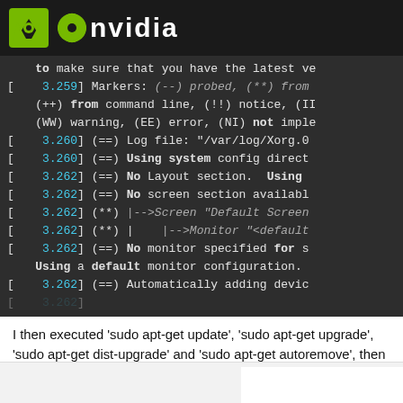NVIDIA
to make sure that you have the latest ve
[    3.259] Markers: (--) probed, (**) from
    (++) from command line, (!!) notice, (II
    (WW) warning, (EE) error, (NI) not imple
[    3.260] (==) Log file: "/var/log/Xorg.0
[    3.260] (==) Using system config direct
[    3.262] (==) No Layout section.  Using
[    3.262] (==) No screen section availabl
[    3.262] (**) |-->Screen "Default Screen
[    3.262] (**)  |    |-->Monitor "<default
[    3.262] (==) No monitor specified for s
    Using a default monitor configuration.
[    3.262] (==) Automatically adding devic
[ ...
I then executed 'sudo apt-get update', 'sudo apt-get upgrade', 'sudo apt-get dist-upgrade' and 'sudo apt-get autoremove', then restart. The corresponding Xorg.0.log file is attached as "Xorg.0.upd.log"
Back  1/17